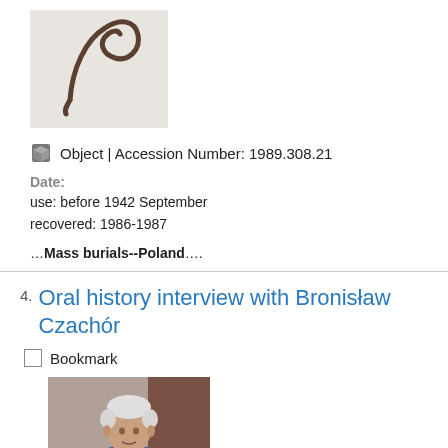[Figure (photo): Photo of a curved dark metal hook/sickle-like artifact on a light gray background]
Object | Accession Number: 1989.308.21
Date:
use: before 1942 September
recovered: 1986-1987
…Mass burials--Poland….
4. Oral history interview with Bronisław Czachór
Bookmark
[Figure (photo): Photo of an elderly man with white hair wearing a blue sweater, seated against a dark reddish-brown background]